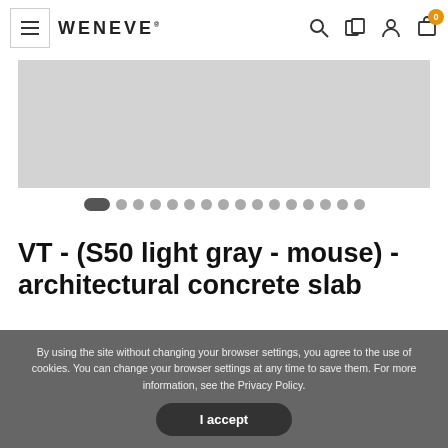WENEVE
[Figure (photo): Product image area showing a light gray rectangular slab (architectural concrete slab product photo), shown cropped]
[Figure (other): Image carousel navigation dots: first dot is active (pill shape, dark), followed by 15 circular dots in gray]
VT - (S50 light gray - mouse) - architectural concrete slab
[Figure (other): Social sharing icons: Facebook (f), Twitter (bird), Pinterest (P)]
By using the site without changing your browser settings, you agree to the use of cookies. You can change your browser settings at any time to save them. For more information, see the Privacy Policy.